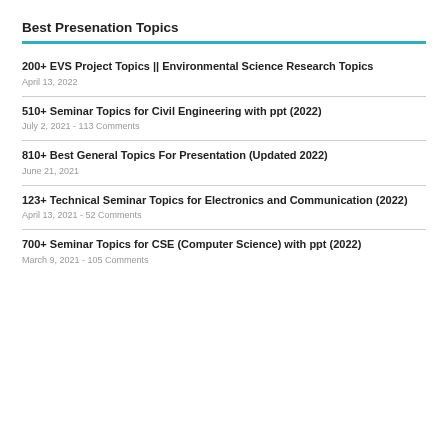Best Presenation Topics
200+ EVS Project Topics || Environmental Science Research Topics
April 13, 2022
510+ Seminar Topics for Civil Engineering with ppt (2022)
July 2, 2021 - 113 Comments
810+ Best General Topics For Presentation (Updated 2022)
June 21, 2021
123+ Technical Seminar Topics for Electronics and Communication (2022)
April 13, 2021 - 52 Comments
700+ Seminar Topics for CSE (Computer Science) with ppt (2022)
March 9, 2021 - 105 Comments